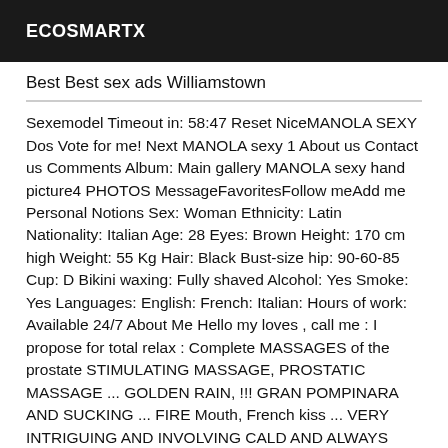ECOSMARTX
Best Best sex ads Williamstown
Sexemodel Timeout in: 58:47 Reset NiceMANOLA SEXY Dos Vote for me! Next MANOLA sexy 1 About us Contact us Comments Album: Main gallery MANOLA sexy hand picture4 PHOTOS MessageFavoritesFollow meAdd me Personal Notions Sex: Woman Ethnicity: Latin Nationality: Italian Age: 28 Eyes: Brown Height: 170 cm high Weight: 55 Kg Hair: Black Bust-size hip: 90-60-85 Cup: D Bikini waxing: Fully shaved Alcohol: Yes Smoke: Yes Languages: English: French: Italian: Hours of work: Available 24/7 About Me Hello my loves , call me : I propose for total relax : Complete MASSAGES of the prostate STIMULATING MASSAGE, PROSTATIC MASSAGE ... GOLDEN RAIN, !!! GRAN POMPINARA AND SUCKING ... FIRE Mouth, French kiss ... VERY INTRIGUING AND INVOLVING CALD AND ALWAYS WET ... !!! I LOVE THAT YOU ALSO DO ME WITH